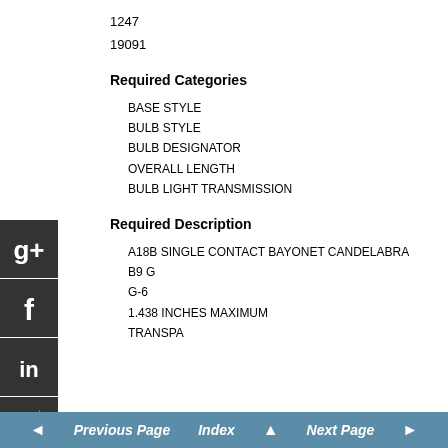1247
19091
Required Categories
BASE STYLE
BULB STYLE
BULB DESIGNATOR
OVERALL LENGTH
BULB LIGHT TRANSMISSION
Required Description
A18B SINGLE CONTACT BAYONET CANDELABRA
B9 G
G-6
1.438 INCHES MAXIMUM
TRANSPA
◄  Previous Page   Index ▲   Next Page  ►